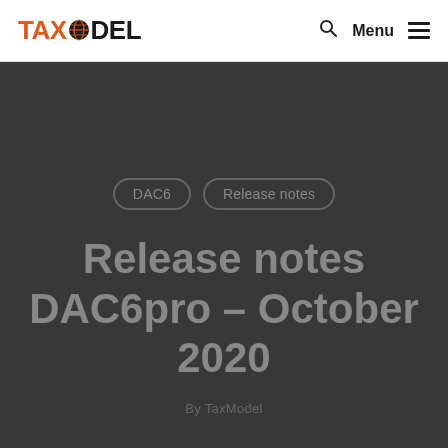TAXMODEL — Menu
DAC6   Release notes
Release notes DAC6pro – October 2020